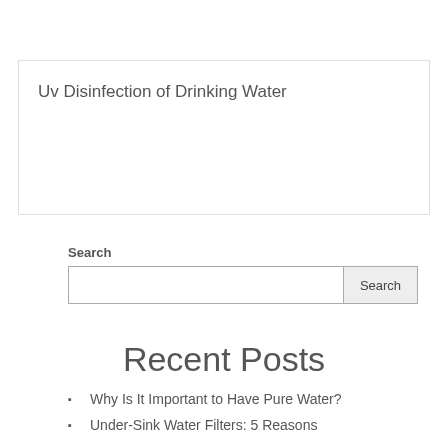Uv Disinfection of Drinking Water
Search
Recent Posts
Why Is It Important to Have Pure Water?
Under-Sink Water Filters: 5 Reasons